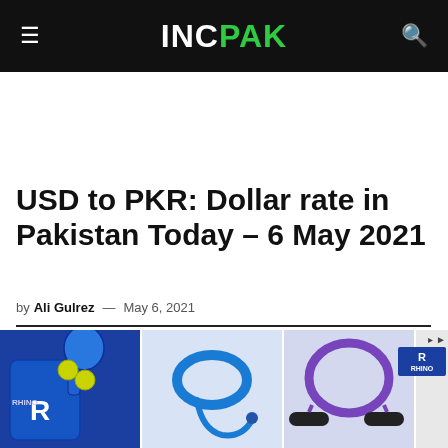INCPAK
USD to PKR: Dollar rate in Pakistan Today – 6 May 2021
by Ali Gulrez — May 6, 2021
[Figure (photo): Advertisement banner showing fitness equipment: pickleball paddle set, resistance band ankle weights, and resistance bands with handles. An R/Rhino logo badge is visible at top right.]